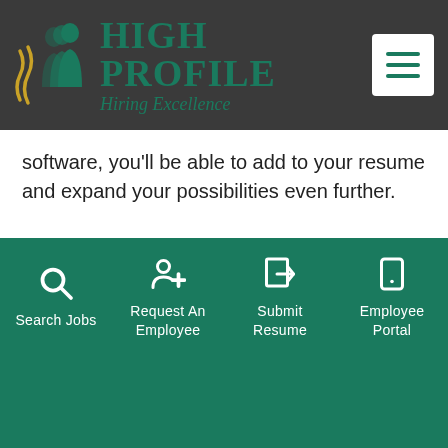[Figure (logo): High Profile Hiring Excellence logo with decorative gold/teal profile silhouettes icon and teal text]
software, you'll be able to add to your resume and expand your possibilities even further.
You'll keep your knowledge current.
If you spend a long time looking for a full-time job,
[Figure (infographic): Teal navigation footer bar with four items: Search Jobs (magnifying glass icon), Request An Employee (person with plus icon), Submit Resume (document with arrow icon), Employee Portal (phone icon)]